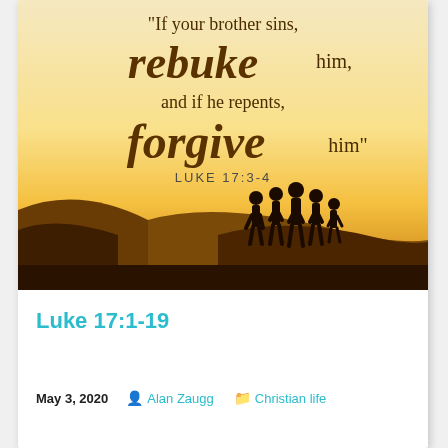[Figure (illustration): Inspirational Bible verse image with sunset background. Text overlay reads: 'If your brother sins, rebuke him, and if he repents, forgive him' LUKE 17:3-4. Silhouette of five people standing together on a hill against a bright golden sunset.]
Luke 17:1-19
May 3, 2020   Alan Zaugg   Christian life